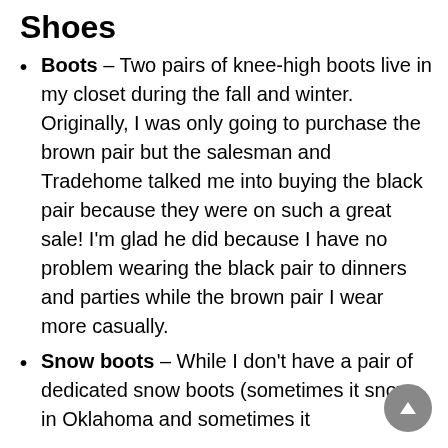Shoes
Boots – Two pairs of knee-high boots live in my closet during the fall and winter. Originally, I was only going to purchase the brown pair but the salesman and Tradehome talked me into buying the black pair because they were on such a great sale! I'm glad he did because I have no problem wearing the black pair to dinners and parties while the brown pair I wear more casually.
Snow boots – While I don't have a pair of dedicated snow boots (sometimes it snows in Oklahoma and sometimes it